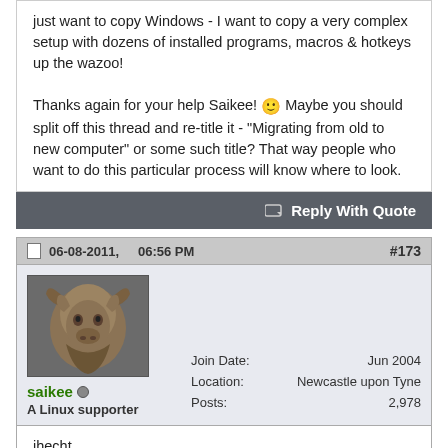just want to copy Windows - I want to copy a very complex setup with dozens of installed programs, macros & hotkeys up the wazoo!

Thanks again for your help Saikee! :) Maybe you should split off this thread and re-title it - "Migrating from old to new computer" or some such title? That way people who want to do this particular process will know where to look.
Reply With Quote
06-08-2011,   06:56 PM   #173
[Figure (photo): Avatar of user saikee - bronze gnu head sculpture]
saikee
A Linux supporter
Join Date: Jun 2004
Location: Newcastle upon Tyne
Posts: 2,978
jhecht,

From my experience you should end up with a brick wall unless the two PC are so much similar